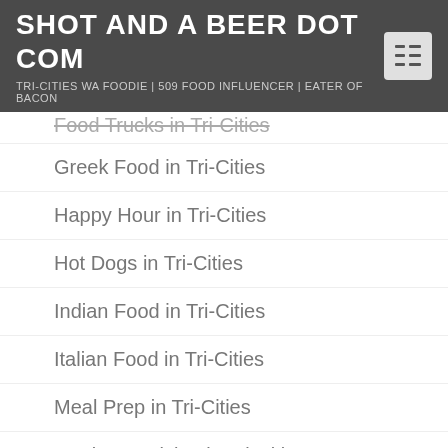SHOT AND A BEER DOT COM
TRI-CITIES WA FOODIE | 509 FOOD INFLUENCER | EATER OF BACON
Food Trucks in Tri-Cities
Greek Food in Tri-Cities
Happy Hour in Tri-Cities
Hot Dogs in Tri-Cities
Indian Food in Tri-Cities
Italian Food in Tri-Cities
Meal Prep in Tri-Cities
Mexican Cuisine in Tri-Cities
Pizza in Tri-Cities
Places We've Lost
Road Trips